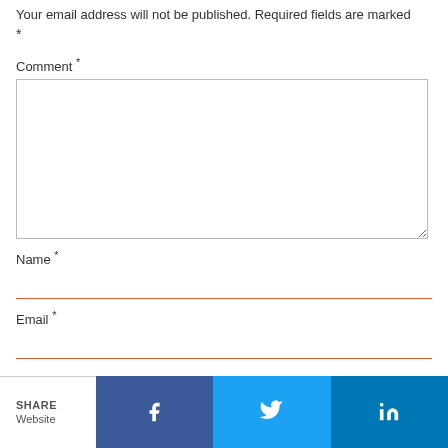Your email address will not be published. Required fields are marked *
Comment *
[Figure (screenshot): Comment textarea input field with border and resize handle]
Name *
[Figure (screenshot): Name text input field with orange bottom border]
Email *
[Figure (screenshot): Email text input field with orange bottom border]
[Figure (infographic): Social share bar with Facebook, Twitter, and LinkedIn buttons, plus SHARE and Website labels]